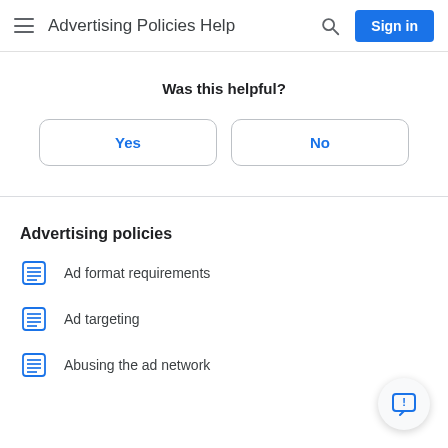Advertising Policies Help
Was this helpful?
Yes | No
Advertising policies
Ad format requirements
Ad targeting
Abusing the ad network